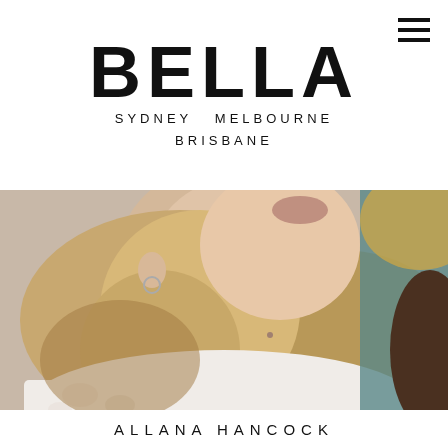BELLA
SYDNEY  MELBOURNE
BRISBANE
[Figure (photo): Close-up photo of a woman with long blonde wavy hair, wearing a white lace top. Her face is partially visible showing her lips and chin, with small hoop earrings visible. Background shows blurred teal and yellow colors.]
ALLANA HANCOCK